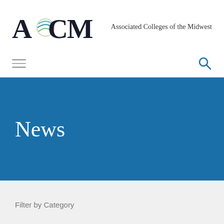[Figure (logo): ACM logo with globe graphic and text 'Associated Colleges of the Midwest']
News
Filter by Category